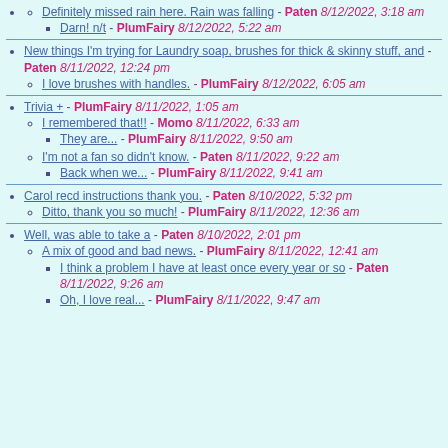Definitely missed rain here. Rain was falling - Paten 8/12/2022, 3:18 am
Darn! n/t - PlumFairy 8/12/2022, 5:22 am
New things I'm trying for Laundry soap, brushes for thick & skinny stuff, and - Paten 8/11/2022, 12:24 pm
I love brushes with handles. - PlumFairy 8/12/2022, 6:05 am
Trivia + - PlumFairy 8/11/2022, 1:05 am
I remembered that!! - Momo 8/11/2022, 6:33 am
They are... - PlumFairy 8/11/2022, 9:50 am
I'm not a fan so didn't know. - Paten 8/11/2022, 9:22 am
Back when we... - PlumFairy 8/11/2022, 9:41 am
Carol recd instructions thank you. - Paten 8/10/2022, 5:32 pm
Ditto, thank you so much! - PlumFairy 8/11/2022, 12:36 am
Well, was able to take a - Paten 8/10/2022, 2:01 pm
A mix of good and bad news. - PlumFairy 8/11/2022, 12:41 am
I think a problem I have at least once every year or so - Paten 8/11/2022, 9:26 am
Oh, I love real... - PlumFairy 8/11/2022, 9:47 am